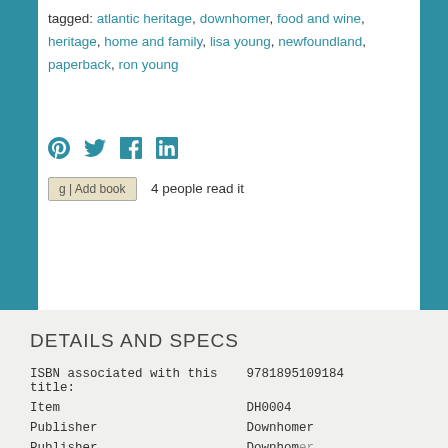tagged: atlantic heritage, downhomer, food and wine, heritage, home and family, lisa young, newfoundland, paperback, ron young
[Figure (other): Social media share icons: Pinterest, Twitter, Facebook, LinkedIn]
g | Add book   4 people read it
DETAILS AND SPECS
| ISBN associated with this title: | 9781895109184 |
| Item | DH0004 |
| Publisher | Downhomer |
| Publisher | Downhomer |